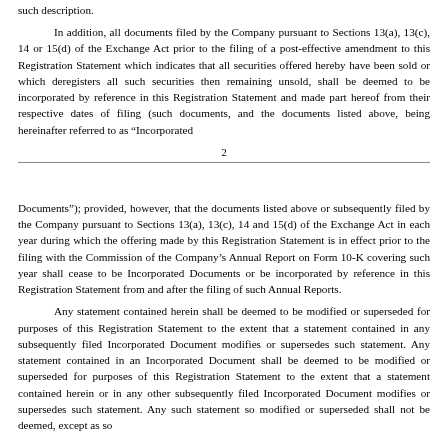such description.
In addition, all documents filed by the Company pursuant to Sections 13(a), 13(c), 14 or 15(d) of the Exchange Act prior to the filing of a post-effective amendment to this Registration Statement which indicates that all securities offered hereby have been sold or which deregisters all such securities then remaining unsold, shall be deemed to be incorporated by reference in this Registration Statement and made part hereof from their respective dates of filing (such documents, and the documents listed above, being hereinafter referred to as “Incorporated
2
Documents”); provided, however, that the documents listed above or subsequently filed by the Company pursuant to Sections 13(a), 13(c), 14 and 15(d) of the Exchange Act in each year during which the offering made by this Registration Statement is in effect prior to the filing with the Commission of the Company’s Annual Report on Form 10-K covering such year shall cease to be Incorporated Documents or be incorporated by reference in this Registration Statement from and after the filing of such Annual Reports.
Any statement contained herein shall be deemed to be modified or superseded for purposes of this Registration Statement to the extent that a statement contained in any subsequently filed Incorporated Document modifies or supersedes such statement. Any statement contained in an Incorporated Document shall be deemed to be modified or superseded for purposes of this Registration Statement to the extent that a statement contained herein or in any other subsequently filed Incorporated Document modifies or supersedes such statement. Any such statement so modified or superseded shall not be deemed, except as so